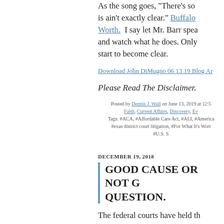As the song goes, "There's so... is ain't exactly clear." Buffalo... Worth. I say let Mr. Barr speak... and watch what he does. Only... start to become clear.
Download John DiMugno 06 13 19 Blog Ar...
Please Read The Disclaimer.
Posted by Dennis J. Wall on June 13, 2019 at 12:5... Faith, Current Affairs, Discovery, Ev... Tags: #ACA, #Affordable Care Act, #ALI, #America... #texas district court litigation, #For What It's Worth... #U.S. S...
DECEMBER 19, 2018
GOOD CAUSE OR NOT G... QUESTION.
The federal courts have held th... protective order to keep a docu... the light of day is essentially...